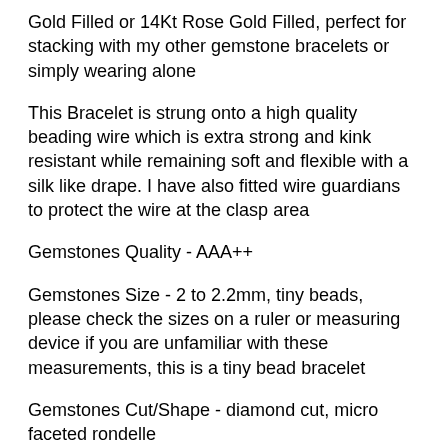Gold Filled or 14Kt Rose Gold Filled, perfect for stacking with my other gemstone bracelets or simply wearing alone
This Bracelet is strung onto a high quality beading wire which is extra strong and kink resistant while remaining soft and flexible with a silk like drape. I have also fitted wire guardians to protect the wire at the clasp area
Gemstones Quality - AAA++
Gemstones Size - 2 to 2.2mm, tiny beads, please check the sizes on a ruler or measuring device if you are unfamiliar with these measurements, this is a tiny bead bracelet
Gemstones Cut/Shape - diamond cut, micro faceted rondelle
All metal components are solid 925 Sterling Silver, 14Kt Yellow Gold filled or...